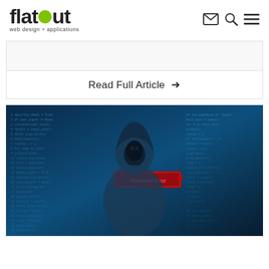flatout web design + applications
Read Full Article →
[Figure (photo): A hooded hacker figure silhouetted against a blue background filled with code and a red 'Password error' message box, representing cybersecurity threats.]